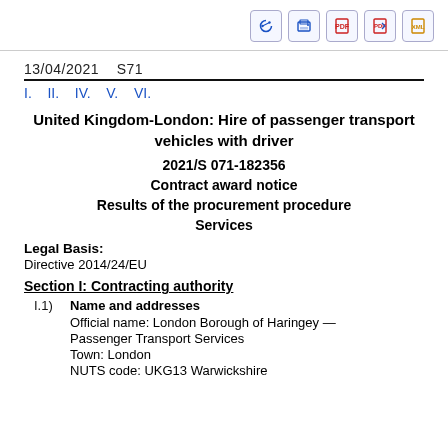13/04/2021    S71
I.   II.   IV.   V.   VI.
United Kingdom-London: Hire of passenger transport vehicles with driver
2021/S 071-182356
Contract award notice
Results of the procurement procedure
Services
Legal Basis:
Directive 2014/24/EU
Section I: Contracting authority
I.1)  Name and addresses
Official name: London Borough of Haringey — Passenger Transport Services
Town: London
NUTS code: UKG13 Warwickshire